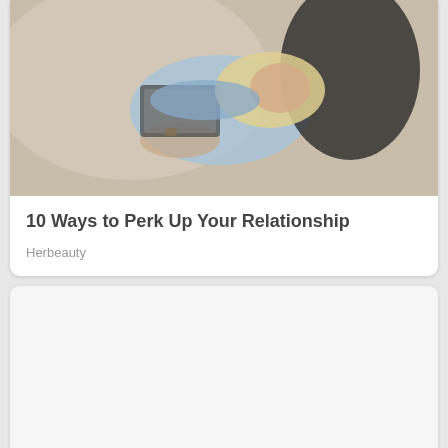[Figure (photo): Two people lying on a beige carpet, one using a laptop, viewed from above. One person wears a light blue top, the other dark pants.]
10 Ways to Perk Up Your Relationship
Herbeauty
[Figure (photo): Blank/white image placeholder for second article card]
Flaunt Your Curves Gracefully, Acquire Some Outfit Essentials